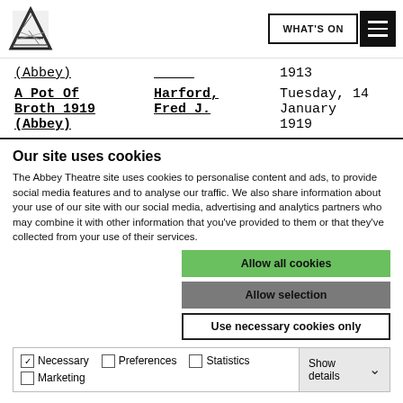Abbey Theatre website header with logo, WHAT'S ON button, and menu icon
| Production | Author | Date |
| --- | --- | --- |
| (Abbey) |  | 1913 |
| A Pot Of Broth 1919 (Abbey) | Harford, Fred J. | Tuesday, 14 January 1919 |
Our site uses cookies
The Abbey Theatre site uses cookies to personalise content and ads, to provide social media features and to analyse our traffic. We also share information about your use of our site with our social media, advertising and analytics partners who may combine it with other information that you've provided to them or that they've collected from your use of their services.
Allow all cookies
Allow selection
Use necessary cookies only
Necessary | Preferences | Statistics | Marketing | Show details